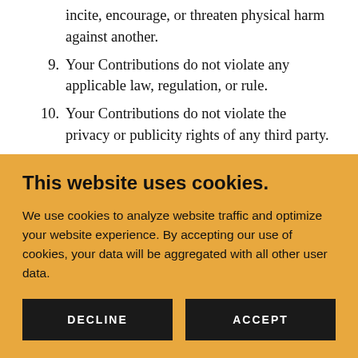incite, encourage, or threaten physical harm against another.
9. Your Contributions do not violate any applicable law, regulation, or rule.
10. Your Contributions do not violate the privacy or publicity rights of any third party.
11. Your Contributions do not contain any
This website uses cookies.
We use cookies to analyze website traffic and optimize your website experience. By accepting our use of cookies, your data will be aggregated with all other user data.